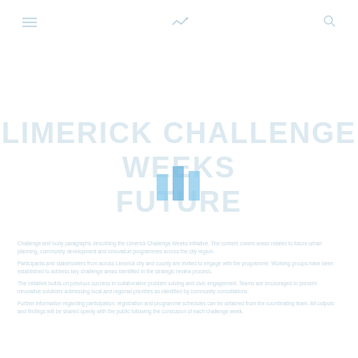Limerick Challenge Weeks Future
LIMERICK CHALLENGE WEEKS
FUTURE
[Figure (infographic): Three vertical blue bars of different heights representing a bar chart icon or logo element]
Challenge text body paragraphs - multiple columns of light blue placeholder text describing the Limerick Challenge Weeks Future initiative and related content areas.